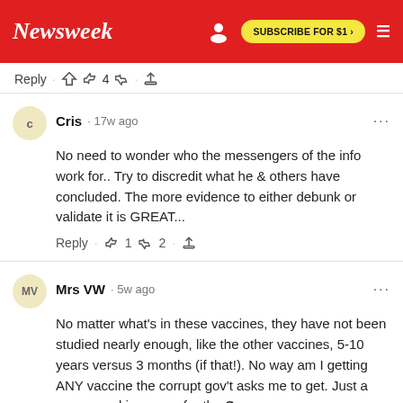Newsweek · SUBSCRIBE FOR $1 >
Reply · 👍 4 👎 · ⬆
Cris · 17w ago
No need to wonder who the messengers of the info work for.. Try to discredit what he & others have concluded. The more evidence to either debunk or validate it is GREAT...
Reply · 👍 1 👎 2 · ⬆
Mrs VW · 5w ago
No matter what's in these vaccines, they have not been studied nearly enough, like the other vaccines, 5-10 years versus 3 months (if that!). No way am I getting ANY vaccine the corrupt gov't asks me to get. Just a money making scam for th...See more
Reply · 👍 2 👎 · ⬆